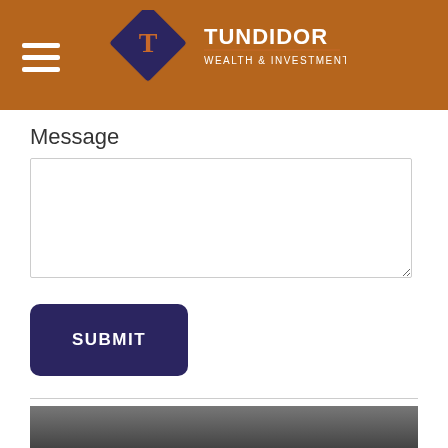TUNDIDOR WEALTH & INVESTMENT GROUP
Message
[Message textarea]
SUBMIT
Related Content
[Figure (photo): Partial image at bottom of page, appears to be a person or group photo, mostly cropped out]